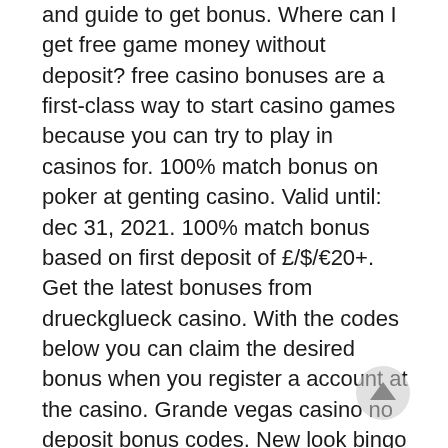and guide to get bonus. Where can I get free game money without deposit? free casino bonuses are a first-class way to start casino games because you can try to play in casinos for. 100% match bonus on poker at genting casino. Valid until: dec 31, 2021. 100% match bonus based on first deposit of £/$/€20+. Get the latest bonuses from drueckglueck casino. With the codes below you can claim the desired bonus when you register a account at the casino. Grande vegas casino no deposit bonus codes. New look bingo drueckglueck casino dreamz casino. Zusätzlich gibt es 50 drückglück casino freispiele für den slot book of dead. Wichtig ist der bonus code glueck Fraudsters are taking advantage of social media and the uncertainties brought by the COVID19 Pandemic to scam your money, steal your financial information, and use your identity for illegal purposes,